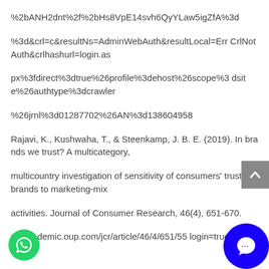%2bANH2dnt%2f%2bHs8VpE14svh6QyYLaw5igZfA%3d
%3d&crl=c&resultNs=AdminWebAuth&resultLocal=ErrCrlNotAuth&crlhashurl=login.as
px%3fdirect%3dtrue%26profile%3dehost%26scope%3dsite%26authtype%3dcrawler
%26jrnl%3d01287702%26AN%3d138604958
Rajavi, K., Kushwaha, T., & Steenkamp, J. B. E. (2019). In brands we trust? A multicategory,
multicountry investigation of sensitivity of consumers' trust in brands to marketing-mix
activities. Journal of Consumer Research, 46(4), 651-670.
https://academic.oup.com/jcr/article/46/4/651/55...login=true